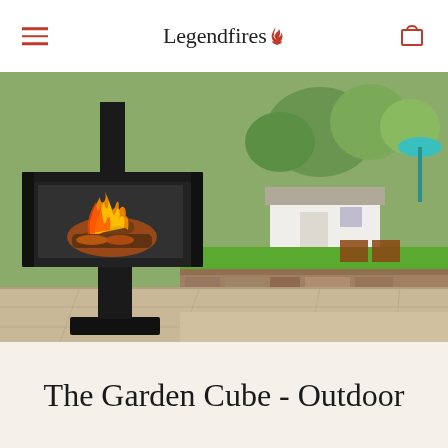Legendfires
[Figure (photo): A modern black glass-panelled outdoor fireplace (Garden Cube) on a pedestal stand, burning wood logs with open flames, set on a stone patio with a garden, stone wall, wooden chairs, teal umbrella, white cottage building and trees visible in the background.]
The Garden Cube - Outdoor